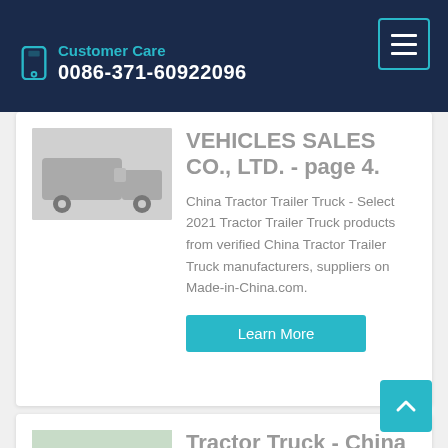Customer Care 0086-371-60922096
VEHICLES SALES CO., LTD. - page 4.
China Tractor Trailer Truck - Select 2021 Tractor Trailer Truck products from verified China Tractor Trailer Truck manufacturers, suppliers on Made-in-China.com.
Learn More
Tractor Truck - China Truck, Tractor